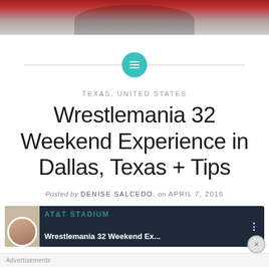[Figure (photo): Top photo strip showing people, partially visible at top of page]
[Figure (other): Teal circular icon with horizontal lines (menu/category icon) centered on a horizontal divider line]
TEXAS, UNITED STATES
Wrestlemania 32 Weekend Experience in Dallas, Texas + Tips
Posted by DENISE SALCEDO. on APRIL 7, 2016
[Figure (screenshot): Video thumbnail showing AT&T Stadium text in background, avatar photo on left, title text 'Wrestlemania 32 Weekend Ex...' and three-dot menu icon]
Advertisements